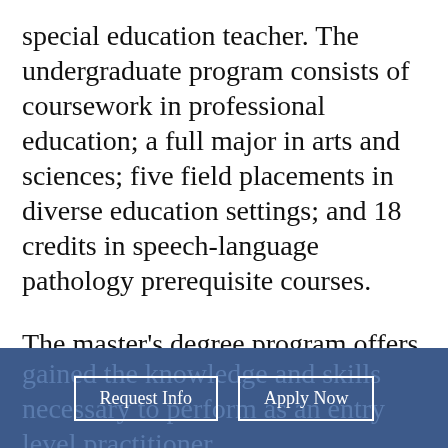special education teacher. The undergraduate program consists of coursework in professional education; a full major in arts and sciences; five field placements in diverse education settings; and 18 credits in speech-language pathology prerequisite courses.
The master's degree program offers a comprehensive, lock-step curriculum consisting of five semesters of academic coursework and clinical practica in a variety of settings.  Upon completion of the program, students will have gained the knowledge and skills necessary to perform as an entry level practitioner.